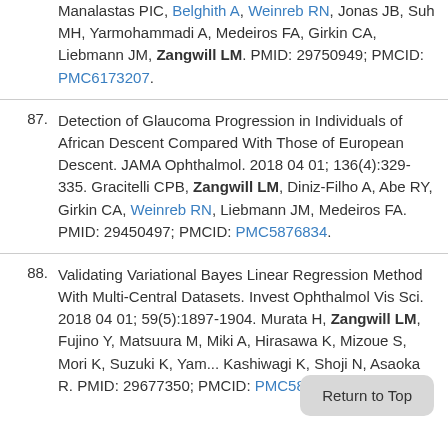Manalastas PIC, Belghith A, Weinreb RN, Jonas JB, Suh MH, Yarmohammadi A, Medeiros FA, Girkin CA, Liebmann JM, Zangwill LM. PMID: 29750949; PMCID: PMC6173207.
87. Detection of Glaucoma Progression in Individuals of African Descent Compared With Those of European Descent. JAMA Ophthalmol. 2018 04 01; 136(4):329-335. Gracitelli CPB, Zangwill LM, Diniz-Filho A, Abe RY, Girkin CA, Weinreb RN, Liebmann JM, Medeiros FA. PMID: 29450497; PMCID: PMC5876834.
88. Validating Variational Bayes Linear Regression Method With Multi-Central Datasets. Invest Ophthalmol Vis Sci. 2018 04 01; 59(5):1897-1904. Murata H, Zangwill LM, Fujino Y, Matsuura M, Miki A, Hirasawa K, Mizoue S, Mori K, Suzuki K, Yam... Kashiwagi K, Shoji N, Asaoka R. PMID: 29677350; PMCID: PMC5886131.